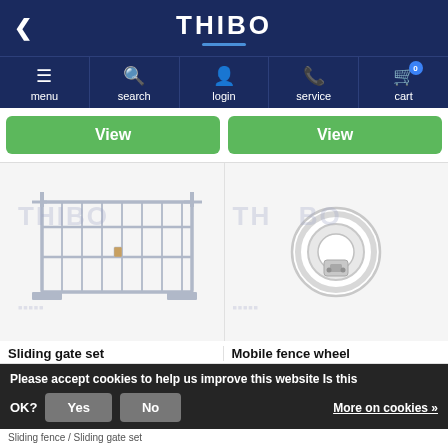THIBO
[Figure (screenshot): Navigation bar with menu, search, login, service, cart icons]
[Figure (illustration): Two green View buttons side by side]
[Figure (photo): Sliding gate set - metal fence panel product image with THIBO watermark]
[Figure (photo): Mobile fence wheel - circular wheel product image with THIBO watermark]
Sliding gate set
Mobile fence wheel
Please accept cookies to help us improve this website Is this OK? Yes No More on cookies »
Sliding fence / Sliding gate set